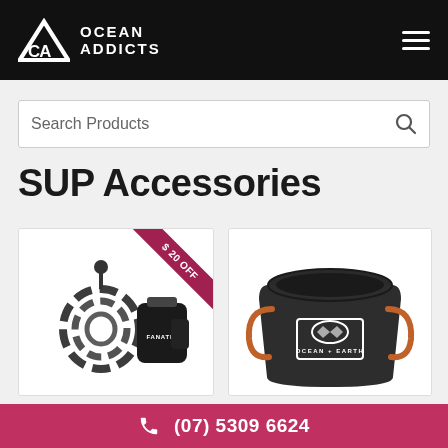[Figure (logo): Ocean Addicts logo with CA triangle icon and hamburger menu on black header]
Search Products
SUP Accessories
[Figure (photo): Black coiled SUP leash with wrist strap by Fanatic, with a pink $20 OFF ribbon in top-right corner]
[Figure (photo): Dark grey Ocean + Earth branded bucket/bag with orange handles]
(07) 5309 6624